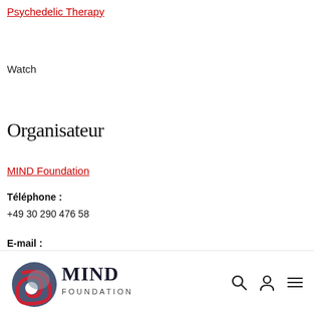Psychedelic Therapy
Watch
Organisateur
MIND Foundation
Téléphone :
+49 30 290 476 58
E-mail :
[Figure (logo): MIND Foundation logo with circular icon and text, plus navigation icons (search, user, menu)]